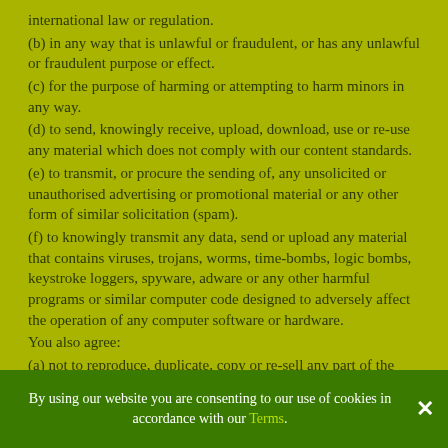international law or regulation.
(b) in any way that is unlawful or fraudulent, or has any unlawful or fraudulent purpose or effect.
(c) for the purpose of harming or attempting to harm minors in any way.
(d) to send, knowingly receive, upload, download, use or re-use any material which does not comply with our content standards.
(e) to transmit, or procure the sending of, any unsolicited or unauthorised advertising or promotional material or any other form of similar solicitation (spam).
(f) to knowingly transmit any data, send or upload any material that contains viruses, trojans, worms, time-bombs, logic bombs, keystroke loggers, spyware, adware or any other harmful programs or similar computer code designed to adversely affect the operation of any computer software or hardware.
You also agree:
(a) not to reproduce, duplicate, copy or re-sell any part of the Website in contravention of the provisions of our terms of website
By using our website you are consenting to our use of cookies in accordance with our Terms.